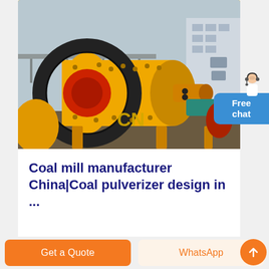[Figure (photo): Large yellow industrial coal ball mill / pulverizer machine photographed outdoors, with a large gear ring visible, set against an urban industrial background. The letters 'CN' appear on the machine body.]
Coal mill manufacturer China|Coal pulverizer design in ...
Free chat
Get a Quote
WhatsApp